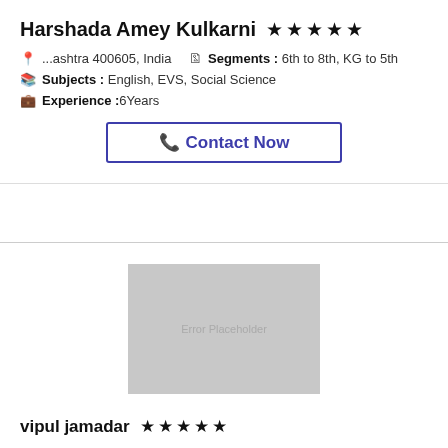Harshada Amey Kulkarni ★★★★★
📍 ...ashtra 400605, India   📋 Segments : 6th to 8th, KG to 5th
📗 Subjects : English, EVS, Social Science
💼 Experience :6Years
📞 Contact Now
[Figure (other): Error Placeholder image - gray rectangle with error placeholder text]
vipul jamadar ★★★★★